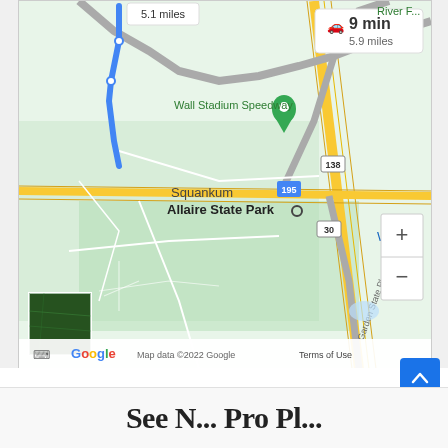[Figure (map): Google Maps screenshot showing driving route to Wall Stadium Speedway. Blue route line shown. Info box displays 9 min, 5.9 miles. Route label shows 5.1 miles. Labels include Wall Stadium Speedway (with green pin), Squankum, Allaire State Park, I-195, route 138, route 30, Garden State Pkwy, Whole (Foods). Zoom +/- controls visible. Satellite thumbnail in bottom left. Map data ©2022 Google, Terms of Use shown.]
[Figure (other): Blue back-to-top scroll button with upward chevron arrow, positioned bottom right.]
See N... Pro Pl...